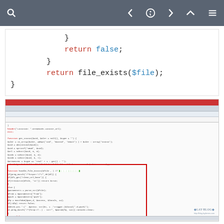[Figure (screenshot): Web viewer toolbar with navigation icons on dark grey background]
[Figure (screenshot): Code snippet showing PHP code with return false and return file_exists($file) highlighted in red and blue syntax colors]
[Figure (screenshot): Screenshot of an IDE (code editor) showing PHP code with a red-highlighted section of code including function logic, return false, and return file_exists($file). LAY·BLOG watermark in bottom right.]